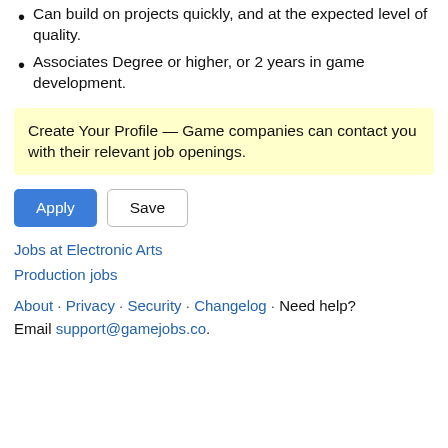Can build on projects quickly, and at the expected level of quality.
Associates Degree or higher, or 2 years in game development.
Create Your Profile — Game companies can contact you with their relevant job openings.
Apply  Save
Jobs at Electronic Arts
Production jobs
About · Privacy · Security · Changelog · Need help? Email support@gamejobs.co.